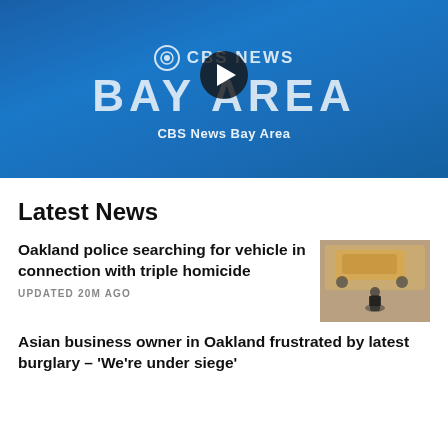[Figure (screenshot): CBS News Bay Area video thumbnail with blue gradient background, CBS eye logo, 'CBS NEWS' text, 'BAY AREA' large text, play button circle in center, and 'CBS News Bay Area' channel label below]
Latest News
Oakland police searching for vehicle in connection with triple homicide
UPDATED 20M AGO
[Figure (photo): Aerial or overhead photo showing a brownish/tan vehicle and a person in a dark shirt, related to Oakland triple homicide story]
Asian business owner in Oakland frustrated by latest burglary – 'We're under siege'